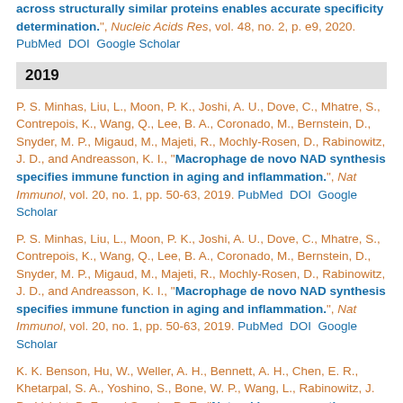across structurally similar proteins enables accurate specificity determination.", Nucleic Acids Res, vol. 48, no. 2, p. e9, 2020. PubMed DOI Google Scholar
2019
P. S. Minhas, Liu, L., Moon, P. K., Joshi, A. U., Dove, C., Mhatre, S., Contrepois, K., Wang, Q., Lee, B. A., Coronado, M., Bernstein, D., Snyder, M. P., Migaud, M., Majeti, R., Mochly-Rosen, D., Rabinowitz, J. D., and Andreasson, K. I., "Macrophage de novo NAD synthesis specifies immune function in aging and inflammation.", Nat Immunol, vol. 20, no. 1, pp. 50-63, 2019. PubMed DOI Google Scholar
P. S. Minhas, Liu, L., Moon, P. K., Joshi, A. U., Dove, C., Mhatre, S., Contrepois, K., Wang, Q., Lee, B. A., Coronado, M., Bernstein, D., Snyder, M. P., Migaud, M., Majeti, R., Mochly-Rosen, D., Rabinowitz, J. D., and Andreasson, K. I., "Macrophage de novo NAD synthesis specifies immune function in aging and inflammation.", Nat Immunol, vol. 20, no. 1, pp. 50-63, 2019. PubMed DOI Google Scholar
K. K. Benson, Hu, W., Weller, A. H., Bennett, A. H., Chen, E. R., Khetarpal, S. A., Yoshino, S., Bone, W. P., Wang, L., Rabinowitz, J. D., Voight, B. F., and Soccio, R. E., "Natural human genetic variation determines basal and inducible expression of , an obesity-associated gene.", Proc Natl Acad Sci U S A, vol. 116, no. 46, pp. 23232-23242, 2019. PubMed DOI Google Scholar